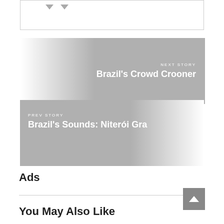[Figure (illustration): White box with two downward-pointing arrows at the top of the page]
[Figure (illustration): Next story navigation banner with gradient background. Label: NEXT STORY, Title: Brazil's Crowd Crooner]
[Figure (illustration): Previous story navigation banner with gradient background. Label: PREV STORY, Title: Brazil's Sounds: Niterói Gra...]
Ads
[Figure (illustration): Back to top button (gray square with upward chevron)]
You May Also Like